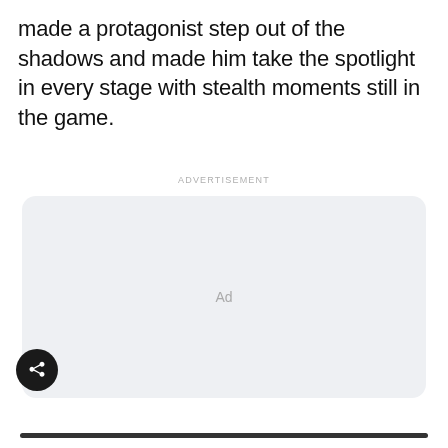made a protagonist step out of the shadows and made him take the spotlight in every stage with stealth moments still in the game.
ADVERTISEMENT
[Figure (other): Advertisement placeholder box with light grey background and 'Ad' label in center]